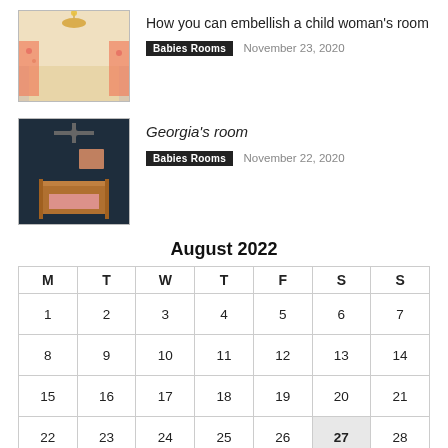[Figure (photo): Thumbnail photo of a child's room with chandelier and floral curtains]
How you can embellish a child woman's room
Babies Rooms  November 23, 2020
[Figure (photo): Thumbnail photo of Georgia's room, a nursery with dark walls and a crib]
Georgia's room
Babies Rooms  November 22, 2020
August 2022
| M | T | W | T | F | S | S |
| --- | --- | --- | --- | --- | --- | --- |
| 1 | 2 | 3 | 4 | 5 | 6 | 7 |
| 8 | 9 | 10 | 11 | 12 | 13 | 14 |
| 15 | 16 | 17 | 18 | 19 | 20 | 21 |
| 22 | 23 | 24 | 25 | 26 | 27 | 28 |
| 29 | 30 | 31 |  |  |  |  |